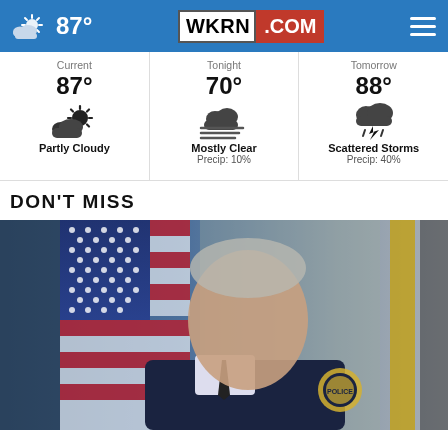87° WKRN.COM [navigation]
[Figure (infographic): Weather widget showing three columns: Current 87° Partly Cloudy, Tonight 70° Mostly Clear Precip: 10%, Tomorrow 88° Scattered Storms Precip: 40%]
DON'T MISS
[Figure (photo): Official portrait photo of a man in dark uniform with police/fire department badge patch, standing in front of an American flag and a yellow flag, grey background]